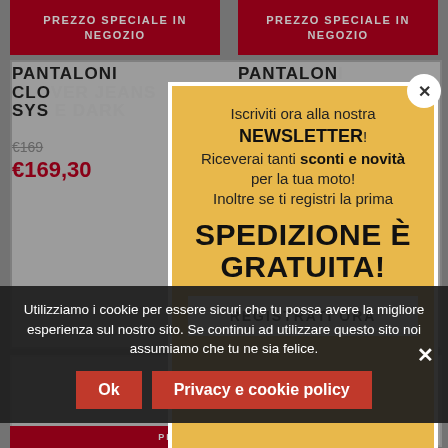PREZZO SPECIALE IN NEGOZIO
PREZZO SPECIALE IN NEGOZIO
PANTALONI CLOVER JEANS SYS E DARK
PANTALONI CLOVER JEANS SYS PRO 2
€169
€169,30
[Figure (screenshot): Newsletter popup modal with yellow background. Text: 'Iscriviti ora alla nostra NEWSLETTER! Riceverai tanti sconti e novità per la tua moto! Inoltre se ti registri la prima SPEDIZIONE È GRATUITA!' with a REGISTRATI ORA button. X close button at top right.]
17% sconto
PREZZO SPECIALE IN
Utilizziamo i cookie per essere sicuri che tu possa avere la migliore esperienza sul nostro sito. Se continui ad utilizzare questo sito noi assumiamo che tu ne sia felice.
Ok
Privacy e cookie policy